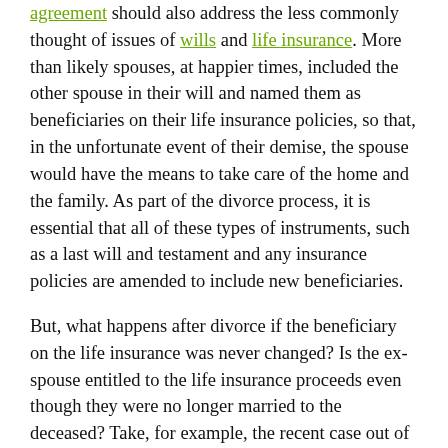agreement should also address the less commonly thought of issues of wills and life insurance. More than likely spouses, at happier times, included the other spouse in their will and named them as beneficiaries on their life insurance policies, so that, in the unfortunate event of their demise, the spouse would have the means to take care of the home and the family. As part of the divorce process, it is essential that all of these types of instruments, such as a last will and testament and any insurance policies are amended to include new beneficiaries.
But, what happens after divorce if the beneficiary on the life insurance was never changed? Is the ex-spouse entitled to the life insurance proceeds even though they were no longer married to the deceased? Take, for example, the recent case out of Minnesota: Metropolitan Life Ins. Co. v. Melin, a state case, which went all the way to the US Court of Appeals. In that matter, the Court of Appeals talked about the 2002 Minnesota law, called the